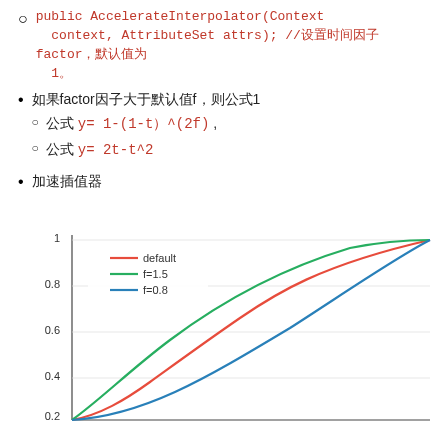public AccelerateInterpolator(Context context, AttributeSet attrs); //设置时间因子factor，默认值为1。
如果factor因子大于默认值f，则公式1
公式 y= 1-(1-t)^(2f) ,
公式 y= 2t-t^2
加速插值器
[Figure (continuous-plot): Line chart showing AccelerateInterpolator curves for default (red), f=1.5 (green), and f=0.8 (blue). Y-axis from 0.2 to 1.0, all curves start near 0 at left and reach 1 at right. Green curve rises fastest, blue slowest.]